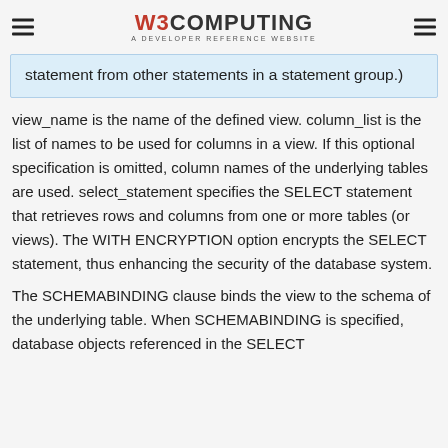W3COMPUTING — A DEVELOPER REFERENCE WEBSITE
statement from other statements in a statement group.)
view_name is the name of the defined view. column_list is the list of names to be used for columns in a view. If this optional specification is omitted, column names of the underlying tables are used. select_statement specifies the SELECT statement that retrieves rows and columns from one or more tables (or views). The WITH ENCRYPTION option encrypts the SELECT statement, thus enhancing the security of the database system.
The SCHEMABINDING clause binds the view to the schema of the underlying table. When SCHEMABINDING is specified, database objects referenced in the SELECT